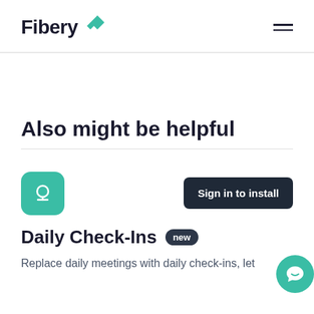Fibery
Also might be helpful
Sign in to install
Daily Check-Ins
Replace daily meetings with daily check-ins, let